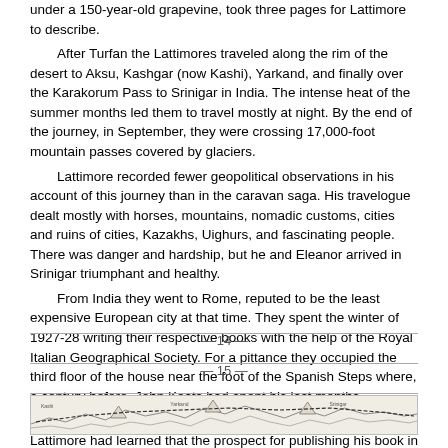under a 150-year-old grapevine, took three pages for Lattimore to describe.
After Turfan the Lattimores traveled along the rim of the desert to Aksu, Kashgar (now Kashi), Yarkand, and finally over the Karakorum Pass to Srinigar in India. The intense heat of the summer months led them to travel mostly at night. By the end of the journey, in September, they were crossing 17,000-foot mountain passes covered by glaciers.
Lattimore recorded fewer geopolitical observations in his account of this journey than in the caravan saga. His travelogue dealt mostly with horses, mountains, nomadic customs, cities and ruins of cities, Kazakhs, Uighurs, and fascinating people. There was danger and hardship, but he and Eleanor arrived in Srinigar triumphant and healthy.
From India they went to Rome, reputed to be the least expensive European city at that time. They spent the winter of 1927-28 writing their respective books with the help of the Royal Italian Geographical Society. For a pittance they occupied the third floor of the house near the foot of the Spanish Steps where, a century before, John Keats had spent his last months.
From Woodhead and other acquaintances in China, Lattimore had learned that the prospect for publishing his book in England was very good. When he finished the manuscript of Desert Road , he and Eleanor went to England,
— 14 —
— 15 —
[Figure (map): A horizontal strip showing a map, partially visible at the bottom of the page.]